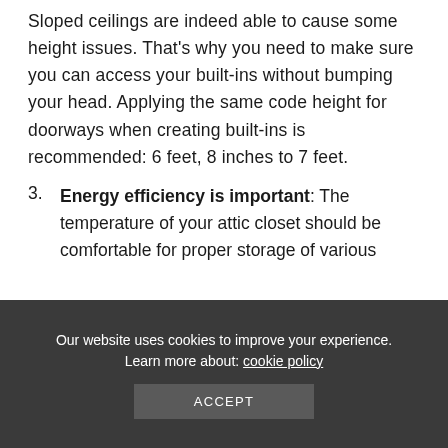Sloped ceilings are indeed able to cause some height issues. That's why you need to make sure you can access your built-ins without bumping your head. Applying the same code height for doorways when creating built-ins is recommended: 6 feet, 8 inches to 7 feet.
3. Energy efficiency is important: The temperature of your attic closet should be comfortable for proper storage of various
Our website uses cookies to improve your experience. Learn more about: cookie policy